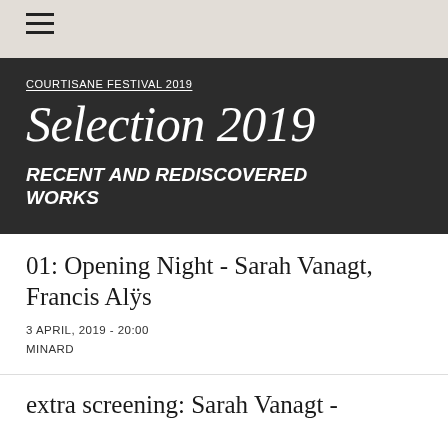≡
COURTISANE FESTIVAL 2019
Selection 2019
RECENT AND REDISCOVERED WORKS
01: Opening Night - Sarah Vanagt, Francis Alÿs
3 APRIL, 2019 - 20:00
MINARD
extra screening: Sarah Vanagt -